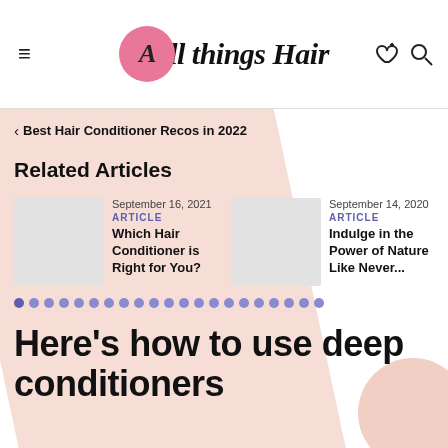All things Hair
< Best Hair Conditioner Recos in 2022
Related Articles
September 16, 2021
ARTICLE
Which Hair Conditioner is Right for You?
September 14, 2020
ARTICLE
Indulge in the Power of Nature Like Never...
Here's how to use deep conditioners